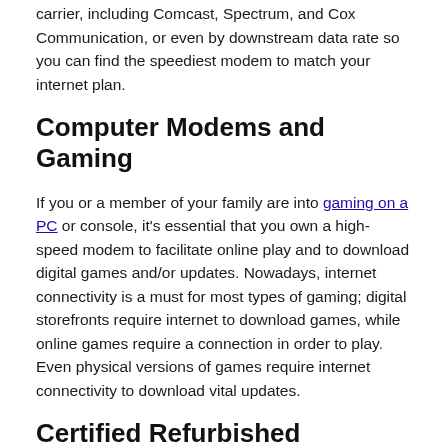carrier, including Comcast, Spectrum, and Cox Communication, or even by downstream data rate so you can find the speediest modem to match your internet plan.
Computer Modems and Gaming
If you or a member of your family are into gaming on a PC or console, it's essential that you own a high-speed modem to facilitate online play and to download digital games and/or updates. Nowadays, internet connectivity is a must for most types of gaming; digital storefronts require internet to download games, while online games require a connection in order to play. Even physical versions of games require internet connectivity to download vital updates.
Certified Refurbished Computer Modems
While eBay offers buyers the choice between both new and used items, there's also a third option that may interest you: Certified Refurbished. Certified Refurbished items are sold by eBay-approved sellers and are often available at a great price. Each of these computer modems comes with a like-